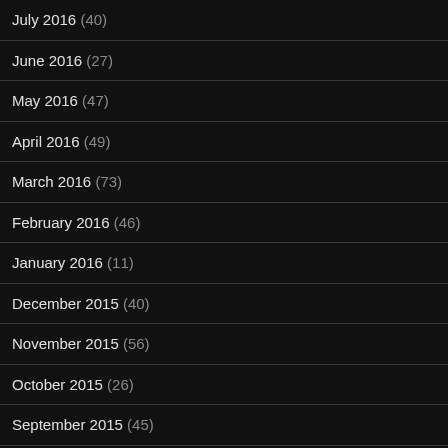July 2016 (40)
June 2016 (27)
May 2016 (47)
April 2016 (49)
March 2016 (73)
February 2016 (46)
January 2016 (11)
December 2015 (40)
November 2015 (56)
October 2015 (26)
September 2015 (45)
August 2015 (52)
July 2015 (71)